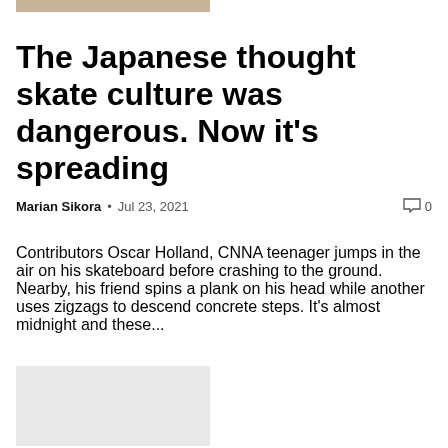[Figure (photo): Top portion of a photo, partially visible at top of page]
The Japanese thought skate culture was dangerous. Now it's spreading
Marian Sikora  •  Jul 23, 2021    🗨 0
Contributors Oscar Holland, CNNA teenager jumps in the air on his skateboard before crashing to the ground. Nearby, his friend spins a plank on his head while another uses zigzags to descend concrete steps. It's almost midnight and these...
[Figure (photo): Gray placeholder image for a second article or related content]